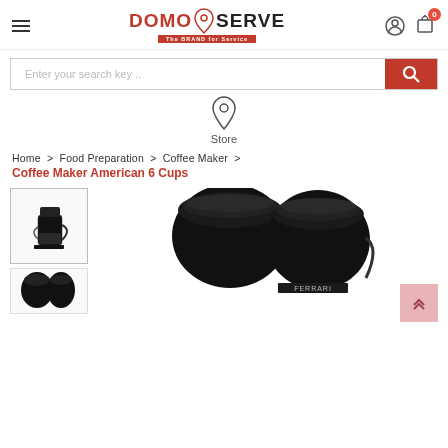[Figure (logo): Domo Serve logo with tagline 'The BRAND for Service']
[Figure (screenshot): Search bar with 'Enter your search key..' placeholder and red search button]
[Figure (infographic): Map pin / location icon with 'Store' label below]
Home  >  Food Preparation  >  Coffee Maker  >
Coffee Maker American 6 Cups
[Figure (photo): Thumbnail of black coffee maker with glass carafe, selected/highlighted]
[Figure (photo): Second smaller thumbnail of Ferrari branded coffee maker components]
[Figure (photo): Main large product image showing black Ferrari coffee maker, close-up top view]